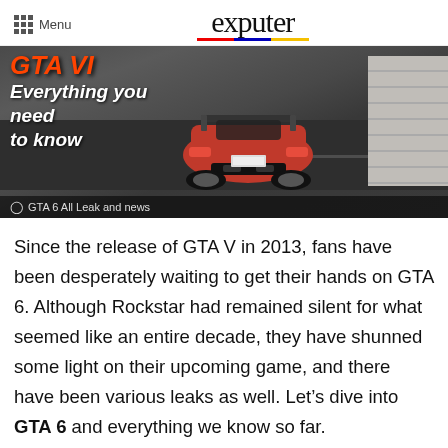Menu | exputer
[Figure (screenshot): GTA 6 hero image showing red sports car viewed from behind on a road, with text overlay 'Everything you need to know' and caption 'GTA 6 All Leak and news']
GTA 6 All Leak and news
Since the release of GTA V in 2013, fans have been desperately waiting to get their hands on GTA 6. Although Rockstar had remained silent for what seemed like an entire decade, they have shunned some light on their upcoming game, and there have been various leaks as well. Let’s dive into GTA 6 and everything we know so far.